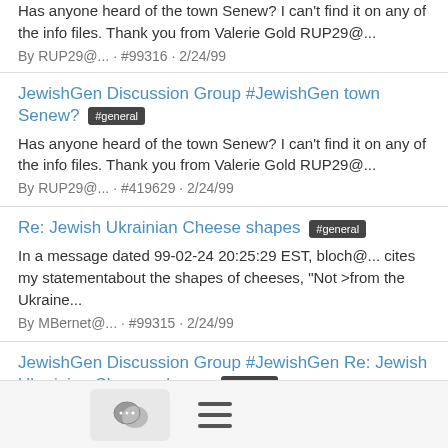Has anyone heard of the town Senew? I can't find it on any of the info files. Thank you from Valerie Gold RUP29@...
By RUP29@... · #99316 · 2/24/99
JewishGen Discussion Group #JewishGen town Senew? #general
Has anyone heard of the town Senew? I can't find it on any of the info files. Thank you from Valerie Gold RUP29@...
By RUP29@... · #419629 · 2/24/99
Re: Jewish Ukrainian Cheese shapes #general
In a message dated 99-02-24 20:25:29 EST, bloch@... cites my statementabout the shapes of cheeses, "Not >from the Ukraine...
By MBernet@... · #99315 · 2/24/99
JewishGen Discussion Group #JewishGen Re: Jewish Ukrainian Cheese shapes #general
In a message dated 99-02-24 20:25:29 EST, bloch@... cites my statementabout the shapes of cheeses, "Not >from the Ukraine...
By MBernet@... · #419629 · 2/24/99